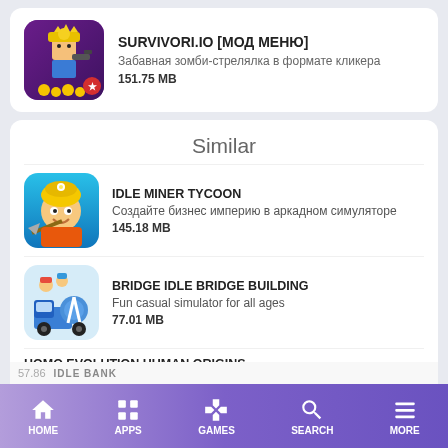[Figure (screenshot): App listing card for SURVIVORI.IO with game icon on purple background showing pixel character]
SURVIVORI.IO [МОД МЕНЮ]
Забавная зомби-стрелялка в формате кликера
151.75 MB
Similar
[Figure (screenshot): IDLE MINER TYCOON app icon showing cartoon miner on blue background]
IDLE MINER TYCOON
Создайте бизнес империю в аркадном симуляторе
145.18 MB
[Figure (screenshot): BRIDGE IDLE BRIDGE BUILDING app icon showing construction vehicle on light blue background]
BRIDGE IDLE BRIDGE BUILDING
Fun casual simulator for all ages
77.01 MB
HOMO EVOLUTION HUMAN ORIGINS
Create new types of creatures in the clicker genre
HOME  APPS  GAMES  SEARCH  MORE